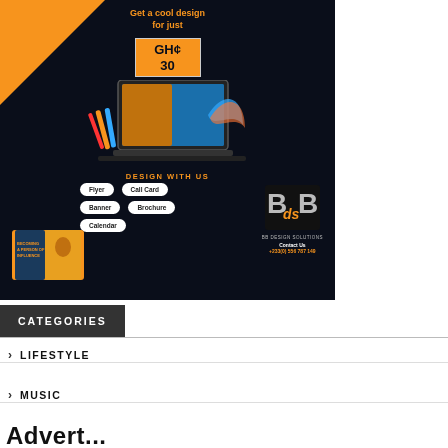[Figure (illustration): Advertisement for BB Design Solutions. Dark navy background with orange triangle in top-left corner. Text reads 'Get a cool design for just GH¢ 30'. Shows laptop with design work, buttons for Flyer, Call Card, Banner, Brochure, Calendar. BB DS logo and contact +233(0) 556 787 149.]
CATEGORIES
LIFESTYLE
MUSIC
Advert...